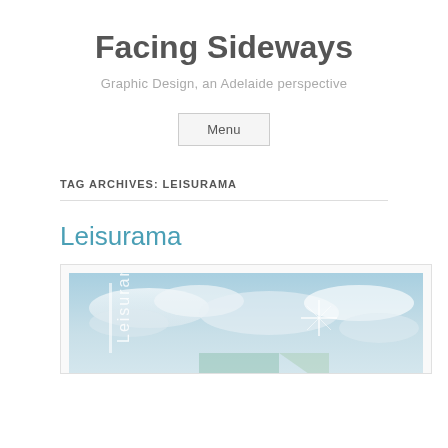Facing Sideways
Graphic Design, an Adelaide perspective
Menu
TAG ARCHIVES: LEISURAMA
Leisurama
[Figure (photo): A photograph showing a light blue sky with clouds, with the word 'Leisurama' visible in white text on the left side, and geometric/star shapes overlaid on the image.]